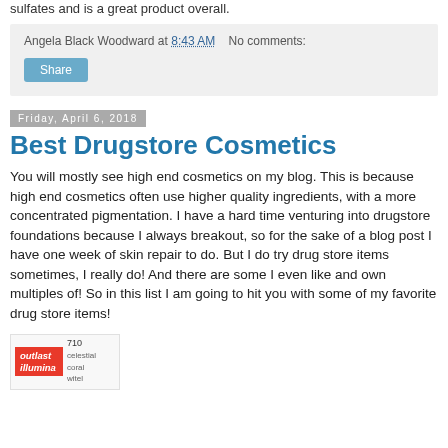sulfates and is a great product overall.
Angela Black Woodward at 8:43 AM    No comments:
Share
Friday, April 6, 2018
Best Drugstore Cosmetics
You will mostly see high end cosmetics on my blog. This is because high end cosmetics often use higher quality ingredients, with a more concentrated pigmentation. I have a hard time venturing into drugstore foundations because I always breakout, so for the sake of a blog post I have one week of skin repair to do. But I do try drug store items sometimes, I really do! And there are some I even like and own multiples of! So in this list I am going to hit you with some of my favorite drug store items!
[Figure (photo): Product image of outlast illumina with shade number 710 listed]